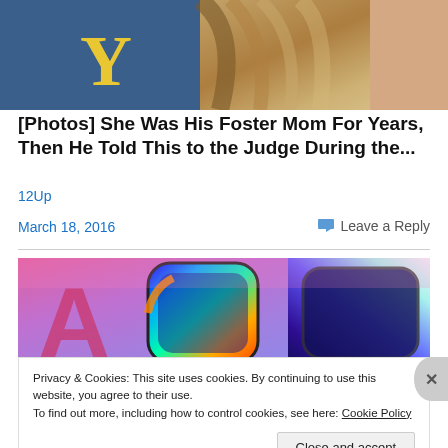[Figure (photo): Top portion of a photo showing a person in a blue jacket with a yellow Y logo and another person with long blonde hair]
[Photos] She Was His Foster Mom For Years, Then He Told This to the Judge During the...
12Up
March 18, 2016
Leave a Reply
[Figure (photo): Colorful iridescent metallic objects with rainbow colors on pink/purple background]
Privacy & Cookies: This site uses cookies. By continuing to use this website, you agree to their use.
To find out more, including how to control cookies, see here: Cookie Policy
Close and accept